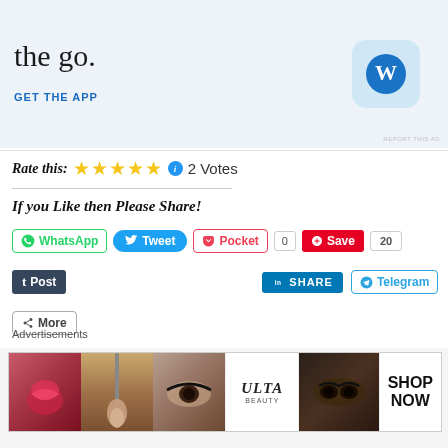[Figure (screenshot): WordPress app advertisement banner with 'the go.' text, GET THE APP link, and WordPress logo icon]
REPORT THIS AD
Rate this: ★★★★★ ℹ 2 Votes
If you Like then Please Share!
WhatsApp  Tweet  Pocket  0  Save  20  Post  SHARE  Telegram  More
Advertisements
[Figure (screenshot): Ulta Beauty makeup advertisement banner showing lips, brush, eye, Ulta logo, smokey eye, and SHOP NOW text]